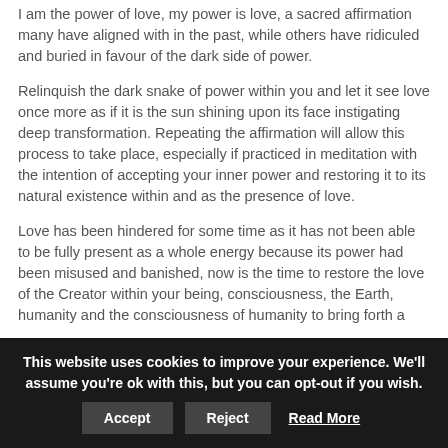I am the power of love, my power is love, a sacred affirmation many have aligned with in the past, while others have ridiculed and buried in favour of the dark side of power.
Relinquish the dark snake of power within you and let it see love once more as if it is the sun shining upon its face instigating deep transformation. Repeating the affirmation will allow this process to take place, especially if practiced in meditation with the intention of accepting your inner power and restoring it to its natural existence within and as the presence of love.
Love has been hindered for some time as it has not been able to be fully present as a whole energy because its power had been misused and banished, now is the time to restore the love of the Creator within your being, consciousness, the Earth, humanity and the consciousness of humanity to bring forth a new wave of love. This new wave of love will
This website uses cookies to improve your experience. We'll assume you're ok with this, but you can opt-out if you wish. Accept Reject Read More